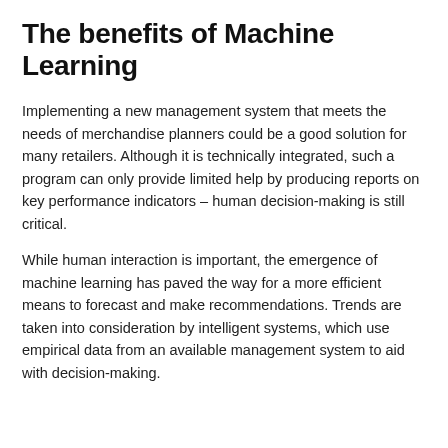The benefits of Machine Learning
Implementing a new management system that meets the needs of merchandise planners could be a good solution for many retailers. Although it is technically integrated, such a program can only provide limited help by producing reports on key performance indicators – human decision-making is still critical.
While human interaction is important, the emergence of machine learning has paved the way for a more efficient means to forecast and make recommendations. Trends are taken into consideration by intelligent systems, which use empirical data from an available management system to aid with decision-making.